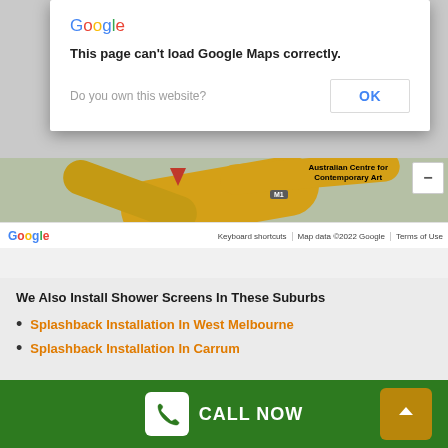[Figure (screenshot): Google Maps error dialog overlay on a Google Maps embed. Dialog shows Google logo, error message 'This page can't load Google Maps correctly.', 'Do you own this website?' text with an OK button. Below the dialog is a Google Maps view showing roads, a red location pin, 'Australian Centre for Contemporary Art' label, M1 road badge, zoom control, Google logo at bottom left, and footer bar with 'Keyboard shortcuts | Map data ©2022 Google | Terms of Use'.]
We Also Install Shower Screens In These Suburbs
Splashback Installation In West Melbourne
Splashback Installation In Carrum
CALL NOW